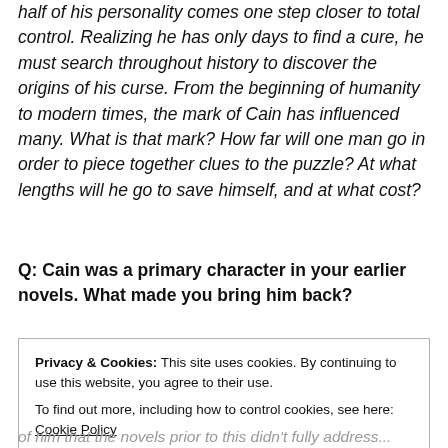half of his personality comes one step closer to total control. Realizing he has only days to find a cure, he must search throughout history to discover the origins of his curse. From the beginning of humanity to modern times, the mark of Cain has influenced many. What is that mark? How far will one man go in order to piece together clues to the puzzle? At what lengths will he go to save himself, and at what cost?
Q: Cain was a primary character in your earlier novels. What made you bring him back?
Privacy & Cookies: This site uses cookies. By continuing to use this website, you agree to their use. To find out more, including how to control cookies, see here: Cookie Policy
Close and accept
of him that the novels prior to this didn't fully address...